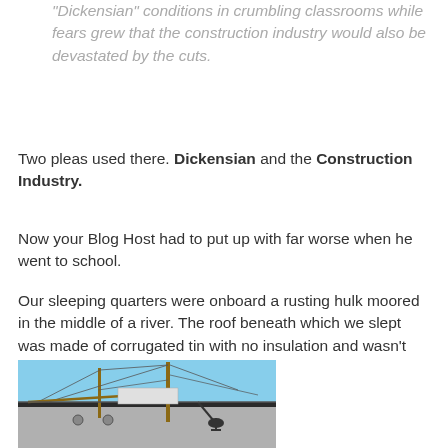“Dickensian” conditions in crumbling classrooms while fears grew that the construction industry would also be devastated by the cuts.
Two pleas used there. Dickensian and the Construction Industry.
Now your Blog Host had to put up with far worse when he went to school.
Our sleeping quarters were onboard a rusting hulk moored in the middle of a river. The roof beneath which we slept was made of corrugated tin with no insulation and wasn’t particularly waterproof.
[Figure (photo): Photo of a tall ship moored at a dock, showing the vessel's hull, masts, rigging, and anchor against a blue sky.]